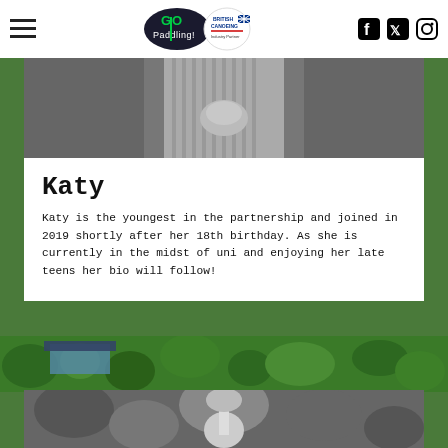GO Paddling | British Canoeing Industry Partner — navigation header with social icons
[Figure (photo): Black and white cropped photo of a person in a striped shirt, hands clasped at waist level]
Katy
Katy is the youngest in the partnership and joined in 2019 shortly after her 18th birthday. As she is currently in the midst of uni and enjoying her late teens her bio will follow!
[Figure (photo): Aerial view of forest and buildings with green trees]
[Figure (photo): Black and white photo of foliage/trees from above]